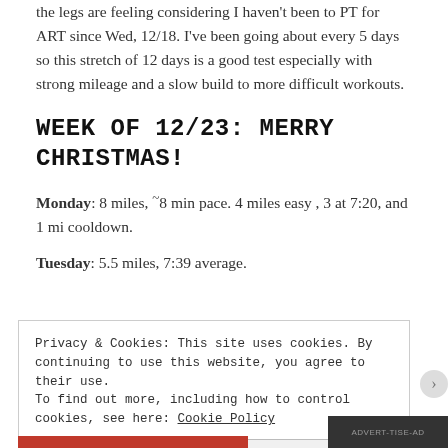the legs are feeling considering I haven't been to PT for ART since Wed, 12/18. I've been going about every 5 days so this stretch of 12 days is a good test especially with strong mileage and a slow build to more difficult workouts.
WEEK OF 12/23: MERRY CHRISTMAS!
Monday: 8 miles, ~8 min pace. 4 miles easy , 3 at 7:20, and 1 mi cooldown.
Tuesday: 5.5 miles, 7:39 average.
Privacy & Cookies: This site uses cookies. By continuing to use this website, you agree to their use.
To find out more, including how to control cookies, see here: Cookie Policy
Close and accept